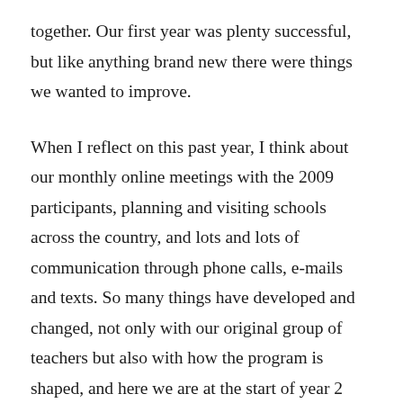together. Our first year was plenty successful, but like anything brand new there were things we wanted to improve.
When I reflect on this past year, I think about our monthly online meetings with the 2009 participants, planning and visiting schools across the country, and lots and lots of communication through phone calls, e-mails and texts. So many things have developed and changed, not only with our original group of teachers but also with how the program is shaped, and here we are at the start of year 2 with a whole new group from Mississippi, New Mexico, South Carolina, Michigan, Oregon and New York. It's exciting all over again. But now we have the insight and experience of working with a wonderful group that has helped improve the program for